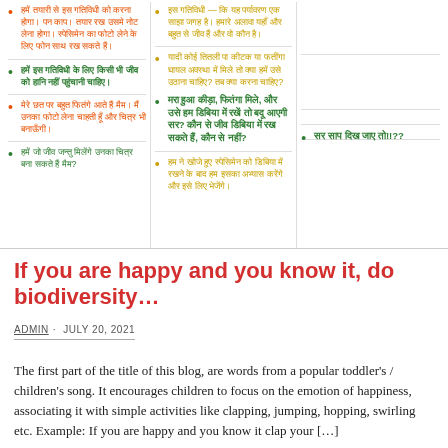हमें तयारी से इस गतिविधी को करना होगा। पन काप। तयार रख उसमे नोट लेना होगा। स्पेसिमेन का फोटो लेने के लिए फोन साथ रख सकते हैं।
इस गतिविधी — कि यह पर्यावरण एक साझा जगह है। हमारे अलावा यहाँ और बहुत से जीव हैं और वो कौन है।
हमें इस गतिविधी के लिए किसी भी जीव को हानि नहीं पहुंचानी चाहिए।
यादी कोई तितली पा कीटक या फतींगा घायल अवस्था में मिले तो क्या हमें उसे उठाना चाहिए? तब क्या करना चाहिए?
मेरे छत पर बहुत फितंगे आते हैं मैम। मैं उनका फोटो लेना चाहती हूँ और चित्र भी बनाऊँगी।
मरा हुआ कीड़ा, फितंगा मिले, और उसे हम डिबिया में रखें तो बदू आएगी सर? कौन से जीव डिबिया में रख सकते हैं, कौन से नहीं?
हमें जो जीव जन्तु मिलेंगे उनका चित्र बना सकते हैं मैम?
हम ने खोजे हुए स्पेसिमेन को डिबिया में रखने के बाद हम इसका अभ्यास करेंगे और इसे लिए भेजेंगे।
सर साप दिख जाए तो!!??
If you are happy and you know it, do biodiversity…
ADMIN · JULY 20, 2021
The first part of the title of this blog, are words from a popular toddler's / children's song. It encourages children to focus on the emotion of happiness, associating it with simple activities like clapping, jumping, hopping, swirling etc. Example: If you are happy and you know it clap your […]